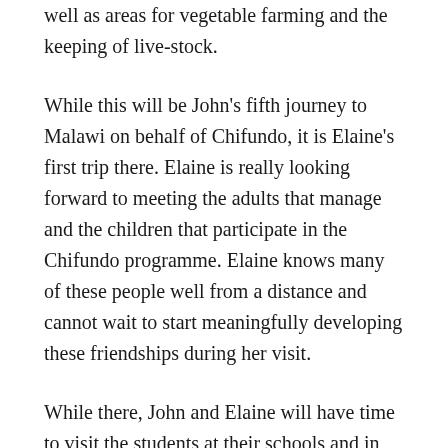well as areas for vegetable farming and the keeping of live-stock.
While this will be John's fifth journey to Malawi on behalf of Chifundo, it is Elaine's first trip there. Elaine is really looking forward to meeting the adults that manage and the children that participate in the Chifundo programme. Elaine knows many of these people well from a distance and cannot wait to start meaningfully developing these friendships during her visit.
While there, John and Elaine will have time to visit the students at their schools and in many cases will also see them at their homes. Traditionally, on these field trips, we bring a gift to each of the children – usually a small toy or